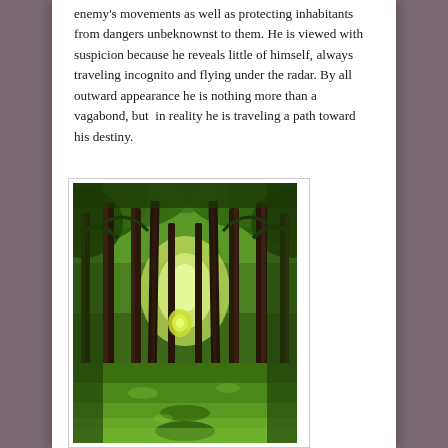enemy's movements as well as protecting inhabitants from dangers unbeknownst to them. He is viewed with suspicion because he reveals little of himself, always traveling incognito and flying under the radar. By all outward appearance he is nothing more than a vagabond, but in reality he is traveling a path toward his destiny.
[Figure (photo): A forest path with tall thin trees creating a natural tunnel effect, lush green grass on the ground, sunlight visible in the distance through the trees.]